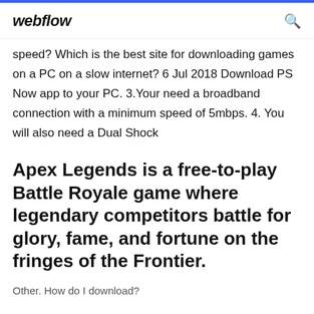webflow
speed? Which is the best site for downloading games on a PC on a slow internet? 6 Jul 2018 Download PS Now app to your PC. 3.Your need a broadband connection with a minimum speed of 5mbps. 4. You will also need a Dual Shock
Apex Legends is a free-to-play Battle Royale game where legendary competitors battle for glory, fame, and fortune on the fringes of the Frontier.
Other. How do I download?